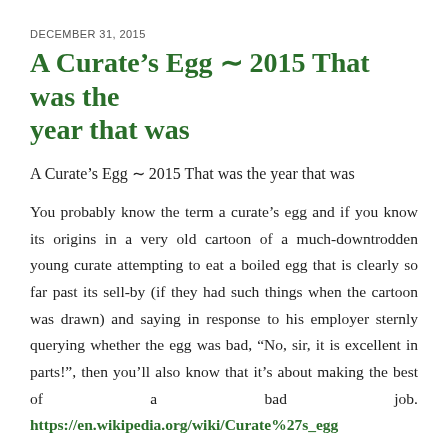DECEMBER 31, 2015
A Curate’s Egg ∼ 2015 That was the year that was
A Curate’s Egg ∼ 2015 That was the year that was
You probably know the term a curate’s egg and if you know its origins in a very old cartoon of a much-downtrodden young curate attempting to eat a boiled egg that is clearly so far past its sell-by (if they had such things when the cartoon was drawn) and saying in response to his employer sternly querying whether the egg was bad, “No, sir, it is excellent in parts!”, then you’ll also know that it’s about making the best of a bad job. https://en.wikipedia.org/wiki/Curate%27s_egg